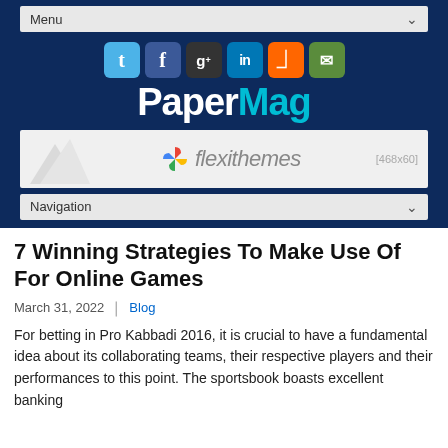Menu
[Figure (logo): PaperMag logo with social media icons (Twitter, Facebook, Google+, LinkedIn, RSS, Email) on a dark navy background]
[Figure (infographic): Flexithemes advertisement banner [468x60]]
Navigation
7 Winning Strategies To Make Use Of For Online Games
March 31, 2022  Blog
For betting in Pro Kabbadi 2016, it is crucial to have a fundamental idea about its collaborating teams, their respective players and their performances to this point. The sportsbook boasts excellent banking